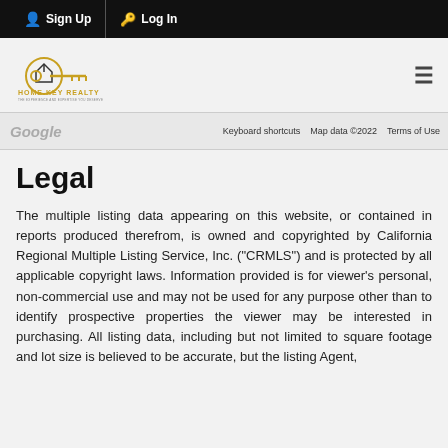Sign Up  Log In
[Figure (logo): Home Key Realty logo with golden key icon and text 'HOME KEY REALTY']
[Figure (screenshot): Google Maps strip showing 'Google', 'Keyboard shortcuts', 'Map data ©2022', 'Terms of Use']
Legal
The multiple listing data appearing on this website, or contained in reports produced therefrom, is owned and copyrighted by California Regional Multiple Listing Service, Inc. ("CRMLS") and is protected by all applicable copyright laws. Information provided is for viewer's personal, non-commercial use and may not be used for any purpose other than to identify prospective properties the viewer may be interested in purchasing. All listing data, including but not limited to square footage and lot size is believed to be accurate, but the listing Agent,